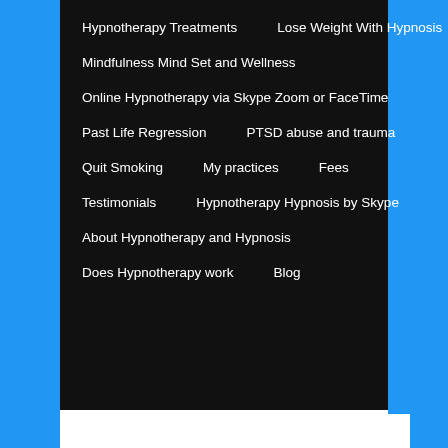Hypnotherapy Treatments    Lose Weight With Hypnosis
Mindfulness Mind Set and Wellness
Online Hypnotherapy via Skype Zoom or FaceTime
Past Life Regression    PTSD abuse and trauma
Quit Smoking    My practices    Fees
Testimonials    Hypnotherapy Hypnosis by Skype
About Hypnotherapy and Hypnosis
Does Hypnotherapy work    Blog
TAG ARCHIVES: OBESITY
Hypnotism for obesity, obesity treatment, hypnosis for obesity, hypnotherapist for obesity, obesity specialist,